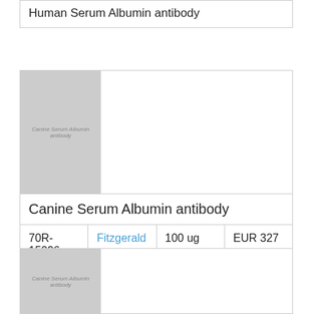Human Serum Albumin antibody
[Figure (photo): Placeholder image for Canine Serum Albumin antibody product]
Canine Serum Albumin antibody
| Product ID | Supplier | Amount | Price |
| --- | --- | --- | --- |
| 70R-15096 | Fitzgerald | 100 ug | EUR 327 |
Description: Rabbit polyclonal Canine Serum Albumin antibody
[Figure (photo): Placeholder image for Canine Serum Albumin antibody product (second card)]